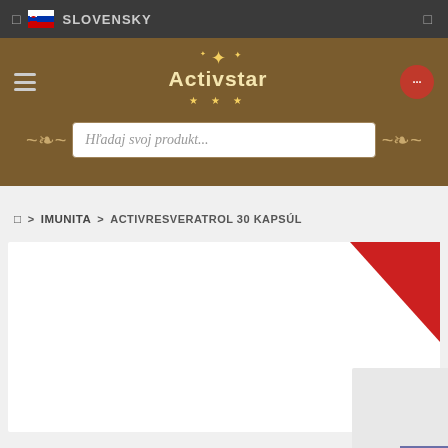SLOVENSKY
[Figure (logo): Activstar brand logo with golden star emblem and decorative stars, white/gold text on brown background]
Hľadaj svoj produkt...
❑ > IMUNITA > ACTIVRESVERATROL 30 KAPSÚL